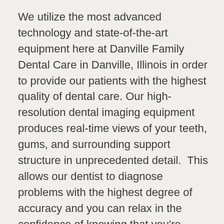We utilize the most advanced technology and state-of-the-art equipment here at Danville Family Dental Care in Danville, Illinois in order to provide our patients with the highest quality of dental care. Our high-resolution dental imaging equipment produces real-time views of your teeth, gums, and surrounding support structure in unprecedented detail.  This allows our dentist to diagnose problems with the highest degree of accuracy and you can relax in the confidence of knowing that you're getting the quality of care you deserve. At Danville Family Dental Care in Danville, Illinois you will receive treatment that is customized to your needs and provided by our exceptionally well trained dental team using the most advanced oral care tools.